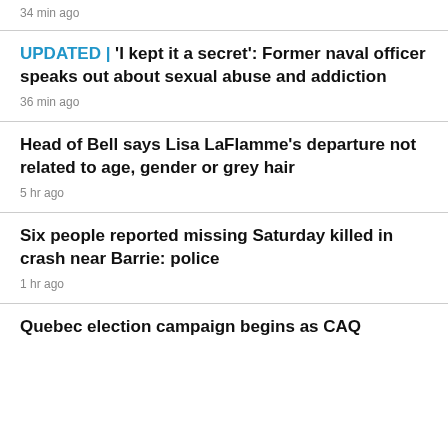34 min ago
UPDATED | 'I kept it a secret': Former naval officer speaks out about sexual abuse and addiction
36 min ago
Head of Bell says Lisa LaFlamme's departure not related to age, gender or grey hair
5 hr ago
Six people reported missing Saturday killed in crash near Barrie: police
1 hr ago
Quebec election campaign begins as CAQ